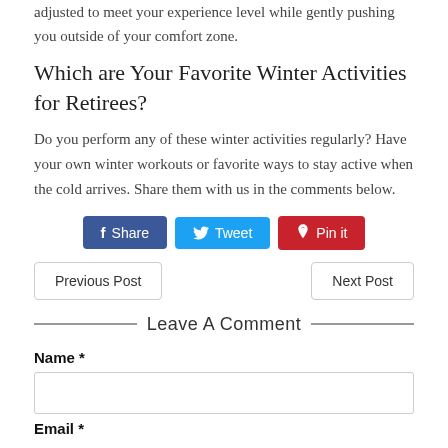adjusted to meet your experience level while gently pushing you outside of your comfort zone.
Which are Your Favorite Winter Activities for Retirees?
Do you perform any of these winter activities regularly? Have your own winter workouts or favorite ways to stay active when the cold arrives. Share them with us in the comments below.
[Figure (infographic): Social share buttons: Facebook Share (blue), Tweet (light blue), Pin it (red)]
Previous Post | Next Post navigation buttons
Leave A Comment
Name *
Email *